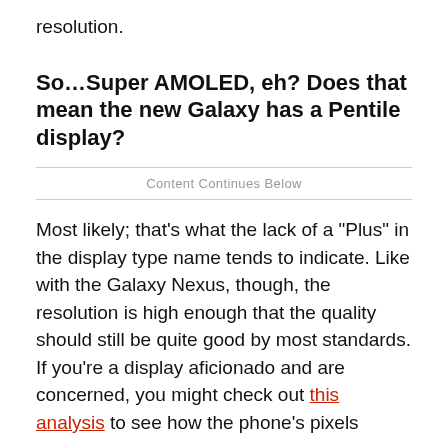resolution.
So…Super AMOLED, eh? Does that mean the new Galaxy has a Pentile display?
Content Continues Below
Most likely; that's what the lack of a "Plus" in the display type name tends to indicate. Like with the Galaxy Nexus, though, the resolution is high enough that the quality should still be quite good by most standards. If you're a display aficionado and are concerned, you might check out this analysis to see how the phone's pixels